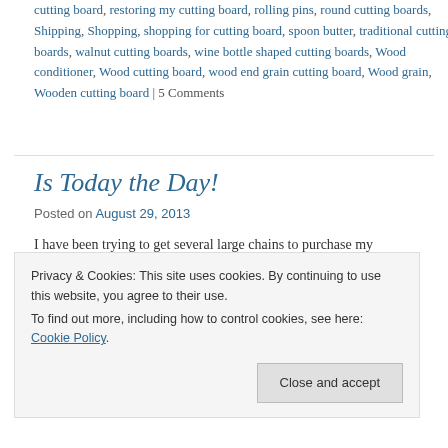cutting board, restoring my cutting board, rolling pins, round cutting boards, Shipping, Shopping, shopping for cutting board, spoon butter, traditional cutting boards, walnut cutting boards, wine bottle shaped cutting boards, Wood conditioner, Wood cutting board, wood end grain cutting board, Wood grain, Wooden cutting board | 5 Comments
Is Today the Day!
Posted on August 29, 2013
I have been trying to get several large chains to purchase my cutting boards. I've spent alot of time writing letters, sending emails and shipping samples. Only a couple of the stores that I have
Privacy & Cookies: This site uses cookies. By continuing to use this website, you agree to their use.
To find out more, including how to control cookies, see here: Cookie Policy